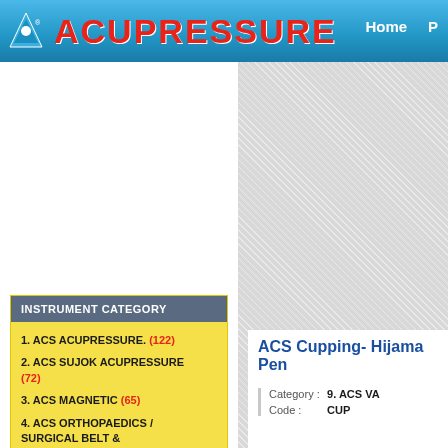ACUPRESSURE
[Figure (photo): White product image area for acupressure instrument]
[Figure (illustration): Diagonal hatched grey background panel on right side]
INSTRUMENT CATEGORY
1. ACS ACUPRESSURE. (122)
2. ACS SUJOK ACUPRESSURE (72)
3. ACS MAGNETIC (65)
4. ACS ORTHOPAEDICS / SURGICAL BELT & INSTRUMENTS
ACS Cupping- Hijama Pen
| Field | Value |
| --- | --- |
| Category : | 9. ACS VA... |
| Code : | CUP... |